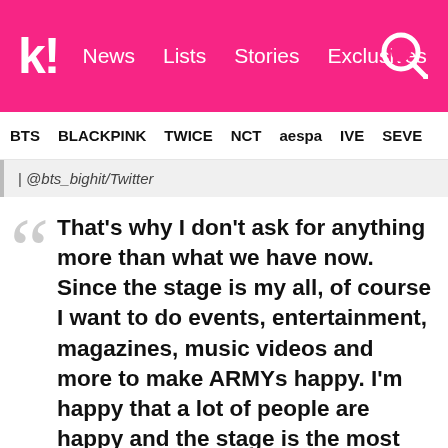k! News Lists Stories Exclusives [search]
BTS BLACKPINK TWICE NCT aespa IVE SEVE
| @bts_bighit/Twitter
That's why I don't ask for anything more than what we have now. Since the stage is my all, of course I want to do events, entertainment, magazines, music videos and more to make ARMYs happy. I'm happy that a lot of people are happy and the stage is the most precious to me. When I am on stage, I feel an emotion that not everyone can feel boiling inside of me. It's something that I can't express with